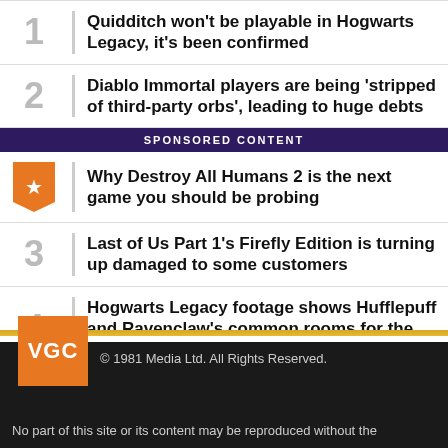1 Quidditch won't be playable in Hogwarts Legacy, it's been confirmed
2 Diablo Immortal players are being 'stripped of third-party orbs', leading to huge debts
SPONSORED CONTENT
Why Destroy All Humans 2 is the next game you should be probing
3 Last of Us Part 1's Firefly Edition is turning up damaged to some customers
4 Hogwarts Legacy footage shows Hufflepuff and Ravenclaw's common rooms for the first time
VGC © 1981 Media Ltd. All Rights Reserved. No part of this site or its content may be reproduced without the